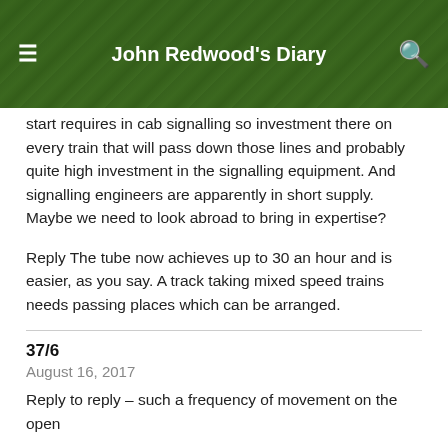John Redwood's Diary
start requires in cab signalling so investment there on every train that will pass down those lines and probably quite high investment in the signalling equipment. And signalling engineers are apparently in short supply. Maybe we need to look abroad to bring in expertise?
Reply The tube now achieves up to 30 an hour and is easier, as you say. A track taking mixed speed trains needs passing places which can be arranged.
37/6
August 16, 2017
Reply to reply – such a frequency of movement on the open